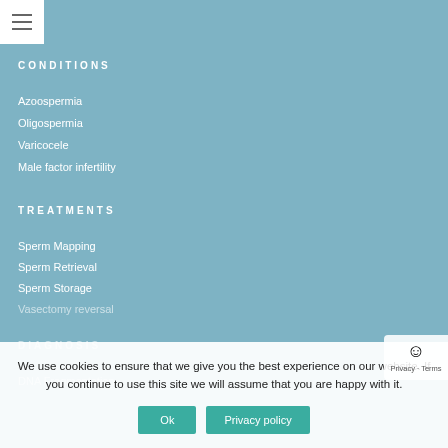CONDITIONS
Azoospermia
Oligospermia
Varicocele
Male factor infertility
TREATMENTS
Sperm Mapping
Sperm Retrieval
Sperm Storage
Vasectomy reversal
DIAGNOSIS
DNA Fragmentation
We use cookies to ensure that we give you the best experience on our website. If you continue to use this site we will assume that you are happy with it.